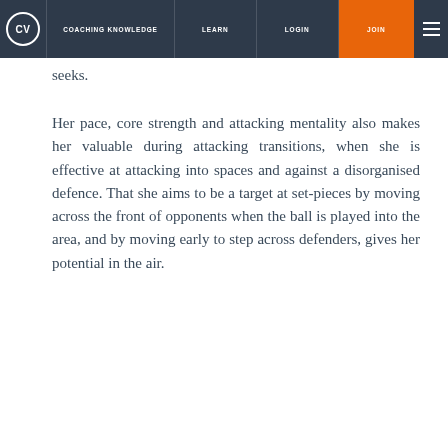CV | COACHING KNOWLEDGE | LEARN | LOGIN | JOIN
seeks.
Her pace, core strength and attacking mentality also makes her valuable during attacking transitions, when she is effective at attacking into spaces and against a disorganised defence. That she aims to be a target at set-pieces by moving across the front of opponents when the ball is played into the area, and by moving early to step across defenders, gives her potential in the air.